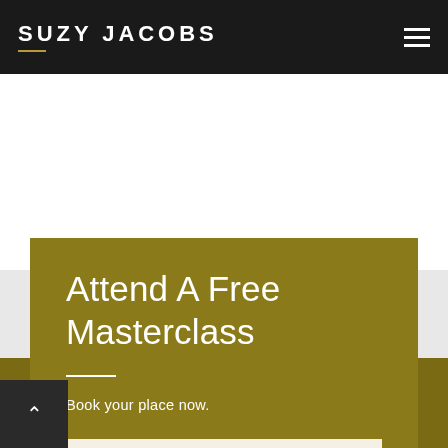SUZY JACOBS
Attend A Free Masterclass
Book your place now.
CLAIM YOUR FREE TRAINING